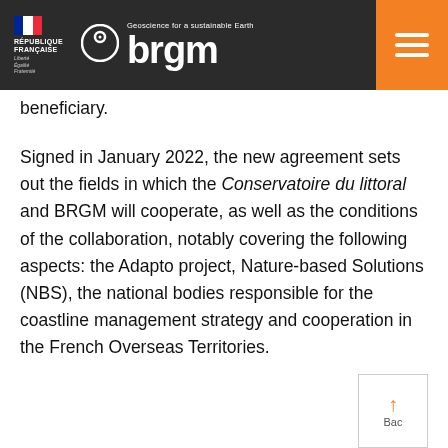RÉPUBLIQUE FRANÇAISE | brgm — Geoscience for a sustainable Earth
beneficiary.
Signed in January 2022, the new agreement sets out the fields in which the Conservatoire du littoral and BRGM will cooperate, as well as the conditions of the collaboration, notably covering the following aspects: the Adapto project, Nature-based Solutions (NBS), the national bodies responsible for the coastline management strategy and cooperation in the French Overseas Territories.